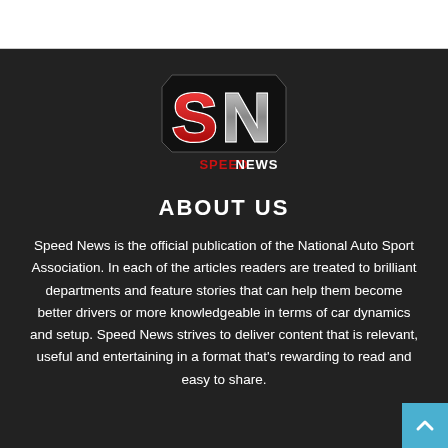[Figure (logo): Speed News SN logo — large stylized red and silver letters SN with SPEEDNEWS text below, on dark background]
ABOUT US
Speed News is the official publication of the National Auto Sport Association. In each of the articles readers are treated to brilliant departments and feature stories that can help them become better drivers or more knowledgeable in terms of car dynamics and setup. Speed News strives to deliver content that is relevant, useful and entertaining in a format that's rewarding to read and easy to share.